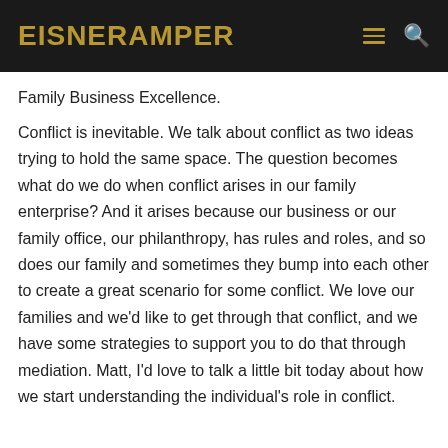EisnerAmper
Family Business Excellence.
Conflict is inevitable. We talk about conflict as two ideas trying to hold the same space. The question becomes what do we do when conflict arises in our family enterprise? And it arises because our business or our family office, our philanthropy, has rules and roles, and so does our family and sometimes they bump into each other to create a great scenario for some conflict. We love our families and we'd like to get through that conflict, and we have some strategies to support you to do that through mediation. Matt, I'd love to talk a little bit today about how we start understanding the individual's role in conflict.